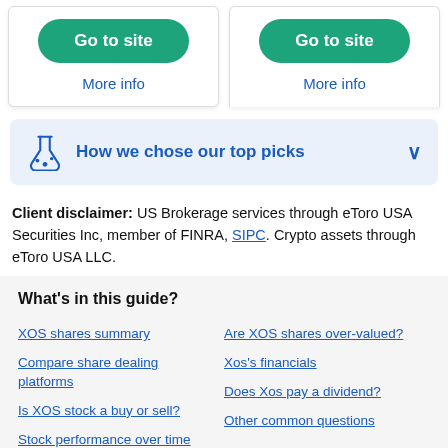[Figure (other): Two 'Go to site' buttons (green rounded) side by side, each with a 'More info' link below]
[Figure (infographic): Blue banner with flask icon reading 'How we chose our top picks' with a chevron dropdown indicator]
Client disclaimer: US Brokerage services through eToro USA Securities Inc, member of FINRA, SIPC. Crypto assets through eToro USA LLC.
What's in this guide?
XOS shares summary
Are XOS shares over-valued?
Compare share dealing platforms
Xos's financials
Is XOS stock a buy or sell?
Does Xos pay a dividend?
Stock performance over time
Other common questions